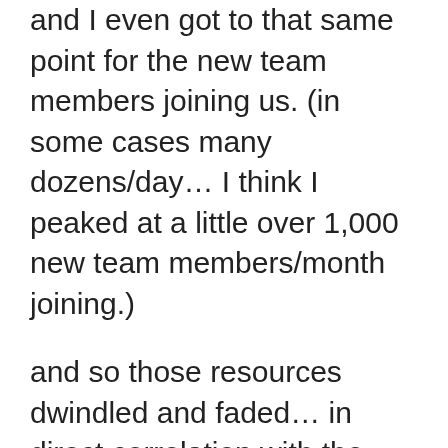and I even got to that same point for the new team members joining us. (in some cases many dozens/day… I think I peaked at a little over 1,000 new team members/month joining.)
and so those resources dwindled and faded… in direct correlation with the amount of direct gratitude I felt for them on a consistent basis.
and so… on this day filled with even more gratitude than yesterday… I look forward to positively impacting even more lives than I already have!